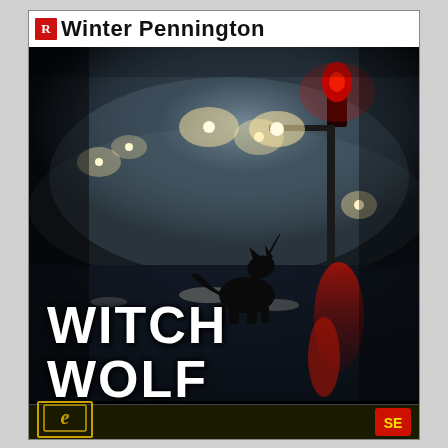Winter Pennington
[Figure (illustration): Dark, atmospheric book cover showing a wolf silhouette howling on a wet rain-slicked street at night, with glowing street lamps in the fog, and a red traffic light reflecting on the pavement. The scene is moody and noir-style.]
WITCH WOLF
[Figure (logo): Bottom bar with Ellora's Cave e-logo in gold on dark background on the left, and a red/gold publisher logo on the right]